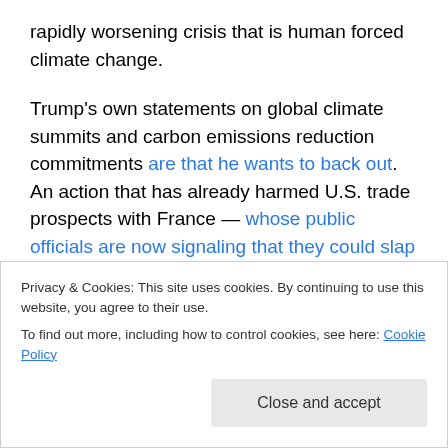rapidly worsening crisis that is human forced climate change.

Trump's own statements on global climate summits and carbon emissions reduction commitments are that he wants to back out. An action that has already harmed U.S. trade prospects with France — whose public officials are now signaling that they could slap a carbon tax on U.S. goods if the President-Elect carries through with his threats. But, perhaps even worse, it appears that Trump's intention to cling to dirty, old industries is also endangering
Privacy & Cookies: This site uses cookies. By continuing to use this website, you agree to their use.
To find out more, including how to control cookies, see here: Cookie Policy
Close and accept